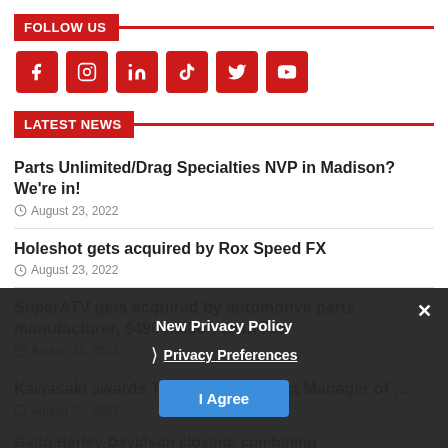FOLLOW US
[Figure (infographic): Social media icons: Facebook, Instagram, LinkedIn, TikTok, Twitter, YouTube — red square buttons with white icons]
LATEST NEWS
Parts Unlimited/Drag Specialties NVP in Madison? We’re in!
August 23, 2022
Holeshot gets acquired by Rox Speed FX
August 23, 2022
SuperATV gets acquired by automotive parts manufacturer, $490 million cash fab
August 23, 2022
Kawasaki awards Tetreault as District Manager of ...
August 23, 2022
Gaito Harley-Davidson closing; combining with Titanic Powder. Harley something
New Privacy Policy
Privacy Preferences
I Agree